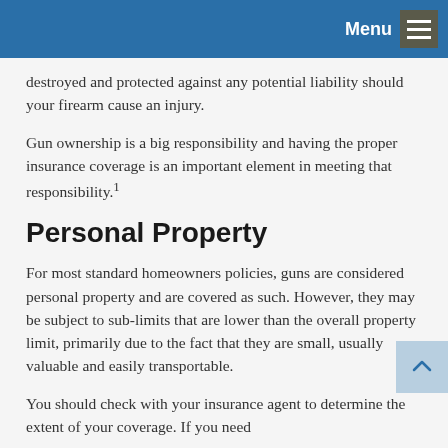Menu
destroyed and protected against any potential liability should your firearm cause an injury.
Gun ownership is a big responsibility and having the proper insurance coverage is an important element in meeting that responsibility.¹
Personal Property
For most standard homeowners policies, guns are considered personal property and are covered as such. However, they may be subject to sub-limits that are lower than the overall property limit, primarily due to the fact that they are small, usually valuable and easily transportable.
You should check with your insurance agent to determine the extent of your coverage. If you need